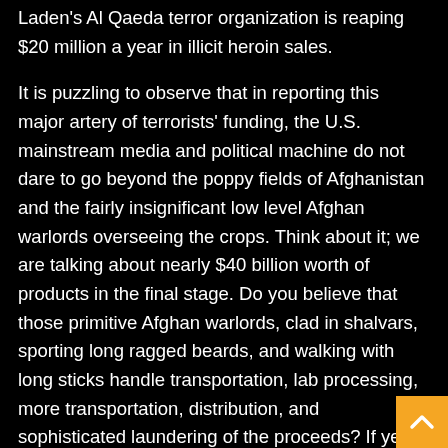Laden's Al Qaeda terror organization is reaping $20 million a year in illicit heroin sales.
It is puzzling to observe that in reporting this major artery of terrorists' funding, the U.S. mainstream media and political machine do not dare to go beyond the poppy fields of Afghanistan and the fairly insignificant low level Afghan warlords overseeing the crops. Think about it; we are talking about nearly $40 billion worth of products in the final stage. Do you believe that those primitive Afghan warlords, clad in shalvars, sporting long ragged beards, and walking with long sticks handle transportation, lab processing, more transportation, distribution, and sophisticated laundering of the proceeds? If yes, then think again. This multi billion-dollar industry requires highly sophisticated networks and people. So, who are the real lords of Afghanistan's poppy fields?